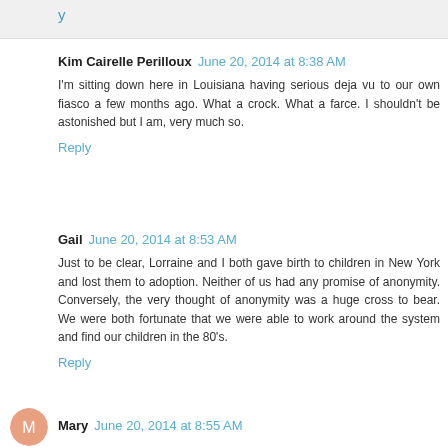Reply
Kim Cairelle Perilloux  June 20, 2014 at 8:38 AM
I'm sitting down here in Louisiana having serious deja vu to our own fiasco a few months ago. What a crock. What a farce. I shouldn't be astonished but I am, very much so.
Reply
Gail  June 20, 2014 at 8:53 AM
Just to be clear, Lorraine and I both gave birth to children in New York and lost them to adoption. Neither of us had any promise of anonymity. Conversely, the very thought of anonymity was a huge cross to bear. We were both fortunate that we were able to work around the system and find our children in the 80's.
Reply
Mary  June 20, 2014 at 8:55 AM